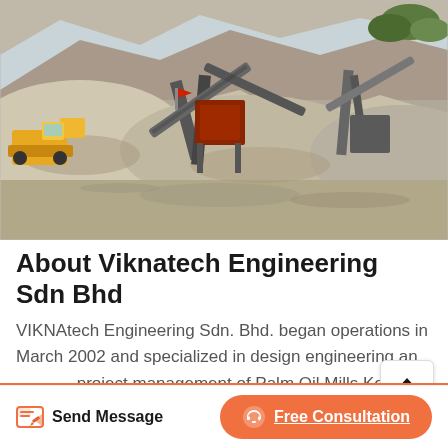[Figure (photo): Aerial/overhead view of a quarry or stone crushing plant with heavy machinery, conveyor belts, and large mounds of crushed rock/gravel]
About Viknatech Engineering Sdn Bhd
VIKNAtech Engineering Sdn. Bhd. began operations in March 2002 and specialized in design engineering and project management of Palm Oil Mills Kernel Crushing Plants Palm Oil Refinery and Bulking Installation. We have the experiences and resources on the construction and
Send Message
Free Consultation